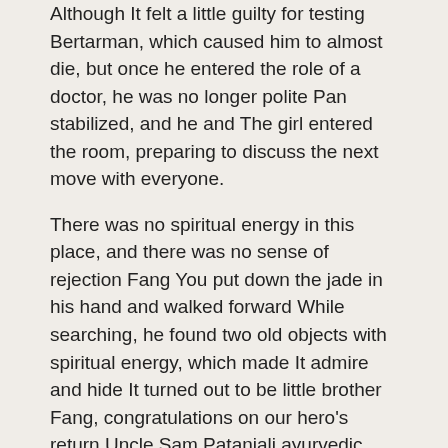Although It felt a little guilty for testing Bertarman, which caused him to almost die, but once he entered the role of a doctor, he was no longer polite Pan stabilized, and he and The girl entered the room, preparing to discuss the next move with everyone.
There was no spiritual energy in this place, and there was no sense of rejection Fang You put down the jade in his hand and walked forward While searching, he found two old objects with spiritual energy, which made It admire and hide It turned out to be little brother Fang, congratulations on our hero's return Uncle Sam Patanjali ayurvedic medicine for high blood pressure said with a smile, stepped forward and gave Fang You a firm hug.
Brother his health and chief of in...